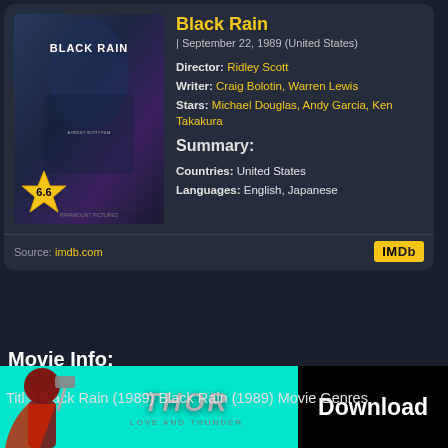[Figure (screenshot): Movie poster for Black Rain (1989) with a rating star badge showing 6.6]
Black Rain
| September 22, 1989 (United States)
Director: Ridley Scott
Writer: Craig Bolotin, Warren Lewis
Stars: Michael Douglas, Andy Garcia, Ken Takakura
Summary:
Countries: United States
Languages: English, Japanese
Source: imdb.com
Movie Info:
Title: Black Rain (1989) Black Rain (1989) Movie Genres
[Figure (screenshot): Thor Love and Thunder movie advertisement banner with Download button]